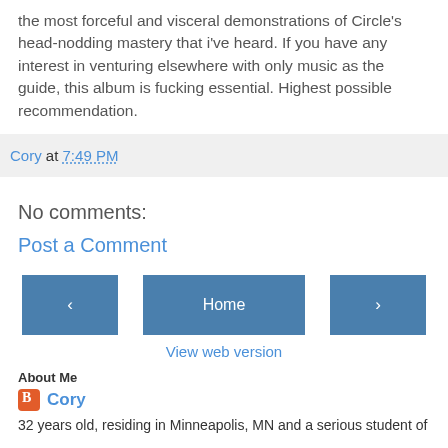the most forceful and visceral demonstrations of Circle's head-nodding mastery that i've heard. If you have any interest in venturing elsewhere with only music as the guide, this album is fucking essential. Highest possible recommendation.
Cory at 7:49 PM
No comments:
Post a Comment
Home
View web version
About Me
Cory
32 years old, residing in Minneapolis, MN and a serious student of